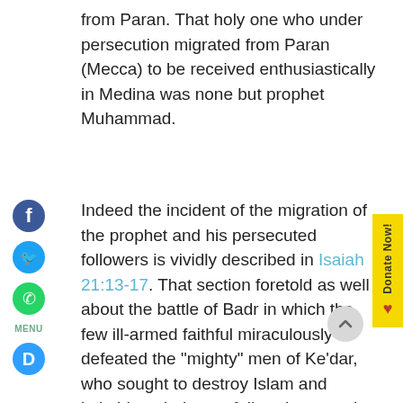from Paran. That holy one who under persecution migrated from Paran (Mecca) to be received enthusiastically in Medina was none but prophet Muhammad.
Indeed the incident of the migration of the prophet and his persecuted followers is vividly described in Isaiah 21:13-17. That section foretold as well about the battle of Badr in which the few ill-armed faithful miraculously defeated the "mighty" men of Ke'dar, who sought to destroy Islam and intimidate their own folks who turned -to Islam.